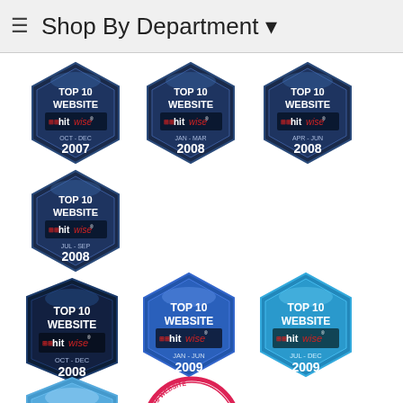Shop By Department
[Figure (logo): Hitwise Top 10 Website badge OCT-DEC 2007]
[Figure (logo): Hitwise Top 10 Website badge JAN-MAR 2008]
[Figure (logo): Hitwise Top 10 Website badge APR-JUN 2008]
[Figure (logo): Hitwise Top 10 Website badge JUL-SEP 2008]
[Figure (logo): Hitwise Top 10 Website badge OCT-DEC 2008]
[Figure (logo): Hitwise Top 10 Website badge JAN-JUN 2009]
[Figure (logo): Hitwise Top 10 Website badge JUL-DEC 2009]
[Figure (logo): Hitwise Top 10 Website badge JAN-JUN (2010)]
[Figure (logo): Experian Hitwise Top 10 Website Winner JUL-DEC 2010]